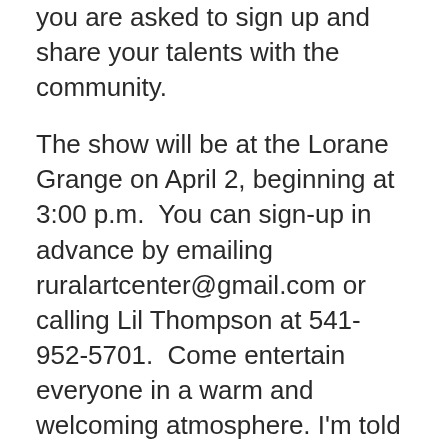you are asked to sign up and share your talents with the community.
The show will be at the Lorane Grange on April 2, beginning at 3:00 p.m.  You can sign-up in advance by emailing ruralartcenter@gmail.com or calling Lil Thompson at 541-952-5701.  Come entertain everyone in a warm and welcoming atmosphere. I'm told that there is room for twenty 5-minute acts.
ATTENTION APPLEGATE ELEMENTARY SCHOOL PARENTS: A discussion is currently taking place on the Crow Community Facebook page about an interest in establishing a PTA/PTO/PTC group at the Applegate Elementary School to